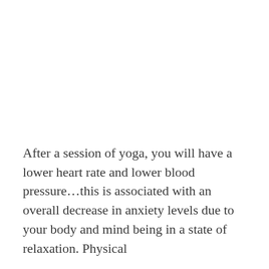After a session of yoga, you will have a lower heart rate and lower blood pressure…this is associated with an overall decrease in anxiety levels due to your body and mind being in a state of relaxation. Physical